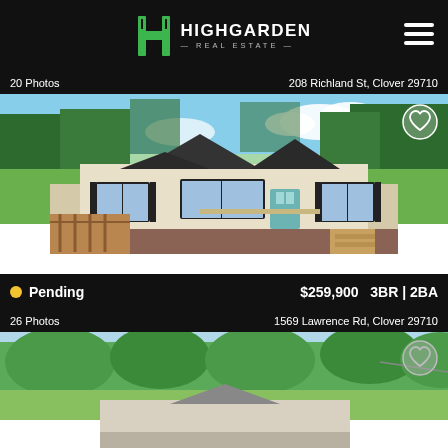[Figure (logo): Highgarden Real Estate logo with green H icon and hamburger menu]
20 Photos
208 Richland St, Clover 29710
[Figure (photo): Exterior photo of a single-story manufactured home with wood deck and porch at 208 Richland St, Clover 29710. Surrounded by trees and green lawn.]
Pending  $259,900  3BR | 2BA
26 Photos
1569 Lawrence Rd, Clover 29710
[Figure (photo): Partial exterior photo of a home at 1569 Lawrence Rd, Clover 29710 with green trees in background.]
Call Agent
Message Agent
Schedule Tour